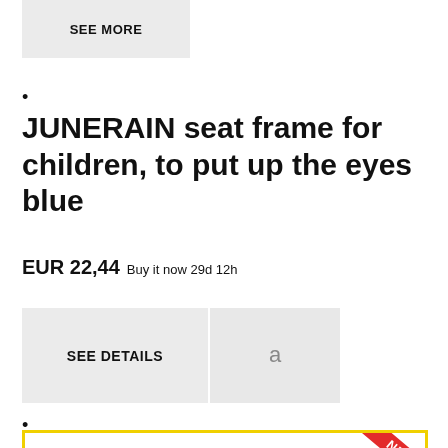[Figure (screenshot): SEE MORE button, grey background]
JUNERAIN seat frame for children, to put up the eyes blue
EUR 22,44 Buy it now 29d 12h
[Figure (screenshot): SEE DETAILS button and Amazon logo button]
[Figure (photo): Product image showing two eye-shaped seat frames for children with yellow-green and blue/pink pastel colors, NEU badge in red at top right corner]